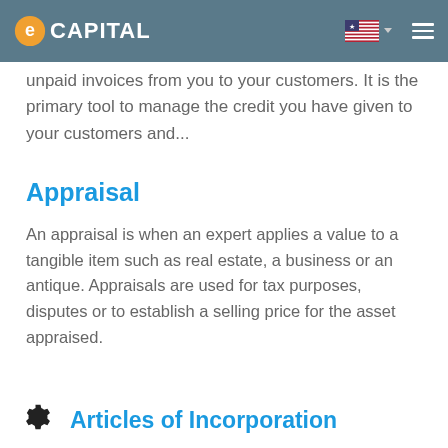eCapital
unpaid invoices from you to your customers. It is the primary tool to manage the credit you have given to your customers and...
Appraisal
An appraisal is when an expert applies a value to a tangible item such as real estate, a business or an antique. Appraisals are used for tax purposes, disputes or to establish a selling price for the asset appraised.
Articles of Incorporation